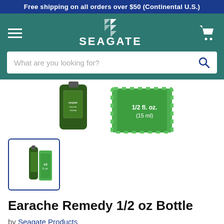Free shipping on all orders over $50 (Continental U.S.)
[Figure (logo): Seagate brand logo with geometric arrow icon and SEAGATE text, on teal background, with hamburger menu and cart icon]
[Figure (screenshot): Search bar with placeholder text 'What are you looking for?' and search icon]
[Figure (photo): Partial product image showing Seagate earache remedy bottle and green box labeled 1/2 fl. oz. (15 ml)]
[Figure (photo): Thumbnail image of Earache Remedy 1/2 oz Bottle product]
Earache Remedy 1/2 oz Bottle
by Seagate Products